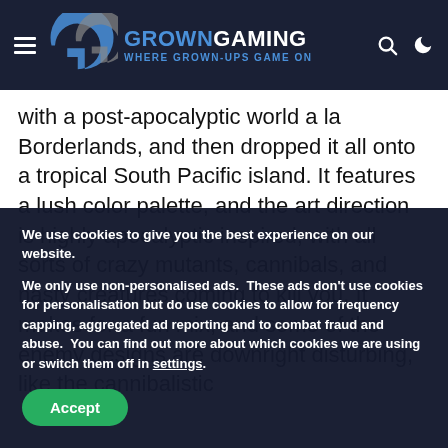GROWNGAMING — WHERE GROWN-UPS GAME ON
with a post-apocalyptic world a la Borderlands, and then dropped it all onto a tropical South Pacific island. It features a lush color palette, and the art direction is highly apocalyptic inspired, with all sorts of crazy mutants, cannibals, and nasty creatures coming to kill you. It makes for a fun mix, and some of the enemy designs are downright disturbing, like the cannibalistic
We use cookies to give you the best experience on our website.
We only use non-personalised ads.  These ads don't use cookies for personalisation but do use cookies to allow for frequency capping, aggregated ad reporting and to combat fraud and abuse.  You can find out more about which cookies we are using or switch them off in settings.